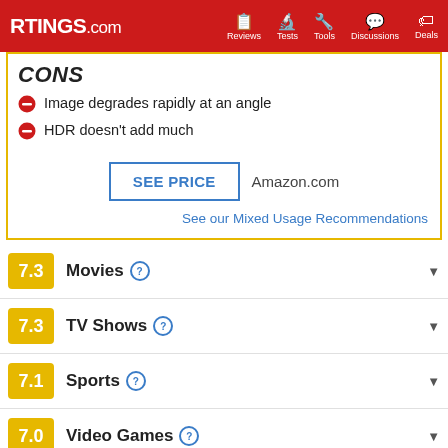RTINGS.com | Reviews | Tests | Tools | Discussions | Deals
CONS
Image degrades rapidly at an angle
HDR doesn't add much
SEE PRICE   Amazon.com
See our Mixed Usage Recommendations
7.3  Movies
7.3  TV Shows
7.1  Sports
7.0  Video Games